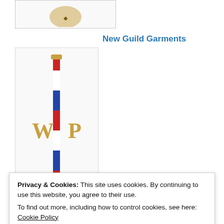[Figure (logo): Partial logo/emblem image cropped at top of page]
New Guild Garments
[Figure (logo): White background image showing W and P letters flanking a barber-pole style vertical striped rod in red, white, blue; gold lettering W and P]
Guild Peal Fees
[Figure (logo): Blue square background with Portsmouth Diocesan Guild of Church Bell Ringers circular emblem featuring a gold bell on a red shield]
Privacy & Cookies: This site uses cookies. By continuing to use this website, you agree to their use.
To find out more, including how to control cookies, see here: Cookie Policy
Close and accept
[Figure (logo): Partial Portsmouth Diocesan Guild logo, cropped at bottom of page]